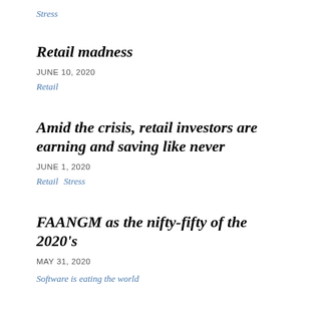Stress
Retail madness
JUNE 10, 2020
Retail
Amid the crisis, retail investors are earning and saving like never
JUNE 1, 2020
Retail  Stress
FAANGM as the nifty-fifty of the 2020's
MAY 31, 2020
Software is eating the world
The impact of millenials
MAY 6, 2020